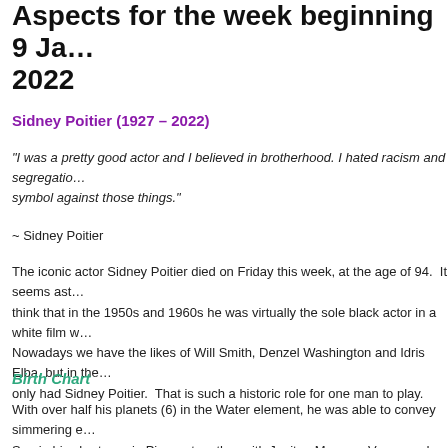Aspects for the week beginning 9 January 2022
Sidney Poitier (1927 – 2022)
"I was a pretty good actor and I believed in brotherhood. I hated racism and segregation and I became a symbol against those things."
~ Sidney Poitier
The iconic actor Sidney Poitier died on Friday this week, at the age of 94.  It seems astonishing to think that in the 1950s and 1960s he was virtually the sole black actor in a white film world.  Nowadays we have the likes of Will Smith, Denzel Washington and Idris Elba, but in those days we only had Sidney Poitier.  That is such a historic role for one man to play.
Birth Chart
With over half his planets (6) in the Water element, he was able to convey simmering emotion.  His Sun in his chart was in Pisces, together with Jupiter, Mercury, Venus and Uranus.  Pisces is one of the two acting signs, conveying the sensitivity for subtle character roles; the other is Leo, known for drama and performance.  Pisces is also a sign which can indicate great Soul evolution, and all the evidence points to this in his character, not least for the responsibility of providing a role model for his race, up to and including the  heyday of the American Civil Rights Movement (1954 – 1968).  And he needed the sextile between his Sun and Mars (the Warrior Archetype), though he...